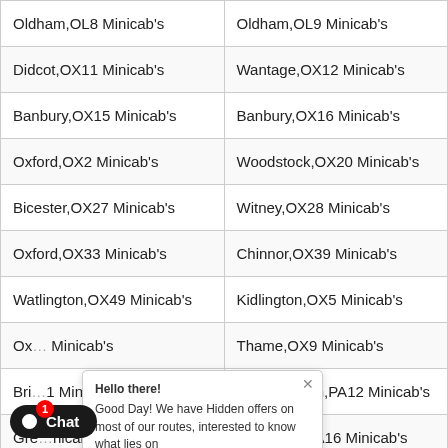| [Location left] | [Location right] |
| --- | --- |
| Oldham,OL8 Minicab's | Oldham,OL9 Minicab's |
| Didcot,OX11 Minicab's | Wantage,OX12 Minicab's |
| Banbury,OX15 Minicab's | Banbury,OX16 Minicab's |
| Oxford,OX2 Minicab's | Woodstock,OX20 Minicab's |
| Bicester,OX27 Minicab's | Witney,OX28 Minicab's |
| Oxford,OX33 Minicab's | Chinnor,OX39 Minicab's |
| Watlington,OX49 Minicab's | Kidlington,OX5 Minicab's |
| Ox[obscured] Minicab's | Thame,OX9 Minicab's |
| Bri[obscured]1 Minicab's | Lochwinnoch,PA12 Minicab's |
| Gre[obscured]nicab's | Greenock,PA16 Minicab's |
| Go[obscured]cab's | Paisley,PA2 Minicab's |
| [obscured]ve,PA22 Minicab's | Dunoon,PA23 Minicab's |
[Figure (screenshot): Chat popup overlay: 'Hello there! Good Day! We have Hidden offers on most of our routes, interested to know what lies on...' with Type/emoji/attachment input bar.]
[Figure (screenshot): Chat button at bottom left: black pill-shaped button with bullet and 'Chat' text, red badge with '1']